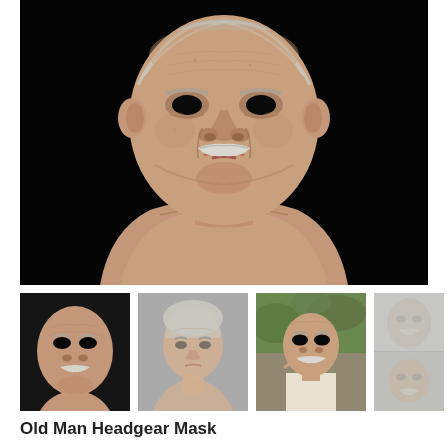[Figure (photo): Main product photo of a realistic old man headgear mask/silicone face mask against a black background. Shows detailed elderly male face with wrinkles, white mustache, grey hair, and realistic skin texture. The mask is displayed on a bust/mannequin.]
[Figure (photo): Thumbnail 1: Close-up of the old man mask from the front, dark background.]
[Figure (photo): Thumbnail 2: Grey/beige toned image of an old woman bust/mask with short curly white hair, grey background.]
[Figure (photo): Thumbnail 3: Person wearing the old man mask outdoors with green foliage background.]
[Figure (photo): Thumbnail 4: Two smaller images of additional mask views, foggy/hazy appearance.]
Old Man Headgear Mask